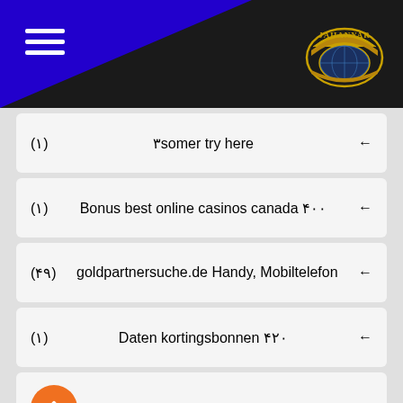[Figure (logo): Jahanyar brand logo badge with gold text and world map, on dark background header with blue triangle]
(۱) ۳somer try here ←
(۱) Bonus best online casinos canada ۴۰۰ ←
(۴۹) goldpartnersuche.de Handy, Mobiltelefon ←
(۱) Daten kortingsbonnen ۴۲۰ ←
Dating online ۴۲۰ ←
(۱) dating reviews ۴۲... ←